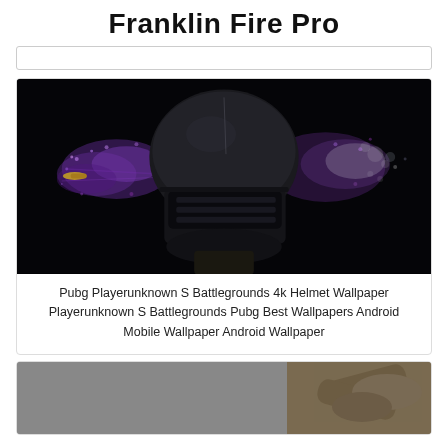Franklin Fire Pro
[Figure (other): Empty search bar input field]
[Figure (photo): PUBG helmet with purple explosion effect and bullet impact on black background]
Pubg Playerunknown S Battlegrounds 4k Helmet Wallpaper Playerunknown S Battlegrounds Pubg Best Wallpapers Android Mobile Wallpaper Android Wallpaper
[Figure (photo): Partial image showing a figure with crossed arms on a grey background]